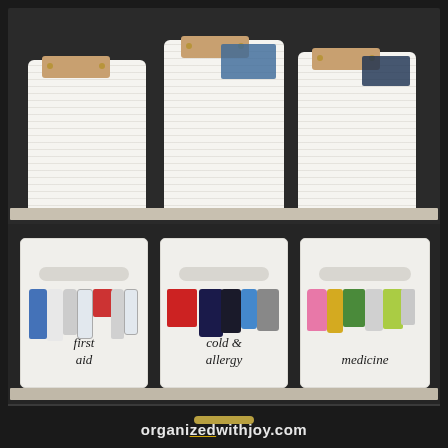[Figure (photo): A dark shelving unit with two visible shelves. Top shelf holds three white rope baskets with tan leather handles containing blue/navy items. Bottom shelf has three white plastic bins labeled 'first aid', 'cold & allergy', and 'medicine', filled with various bottles and medical supplies. A drawer is visible at the bottom. Website watermark 'organizedwithjoy.com' appears at the bottom.]
organizedwithjoy.com